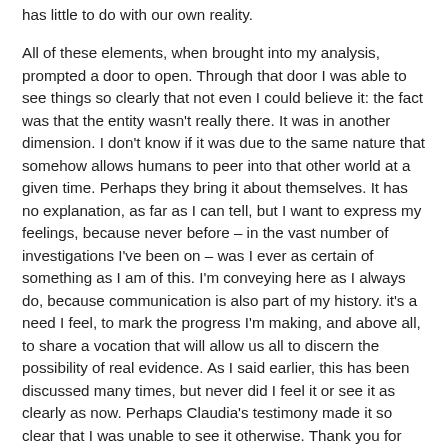has little to do with our own reality.
All of these elements, when brought into my analysis, prompted a door to open. Through that door I was able to see things so clearly that not even I could believe it: the fact was that the entity wasn't really there. It was in another dimension. I don't know if it was due to the same nature that somehow allows humans to peer into that other world at a given time. Perhaps they bring it about themselves. It has no explanation, as far as I can tell, but I want to express my feelings, because never before – in the vast number of investigations I've been on – was I ever as certain of something as I am of this. I'm conveying here as I always do, because communication is also part of my history. it's a need I feel, to mark the progress I'm making, and above all, to share a vocation that will allow us all to discern the possibility of real evidence. As I said earlier, this has been discussed many times, but never did I feel it or see it as clearly as now. Perhaps Claudia's testimony made it so clear that I was unable to see it otherwise. Thank you for reading this, even if it's only a personal truth.